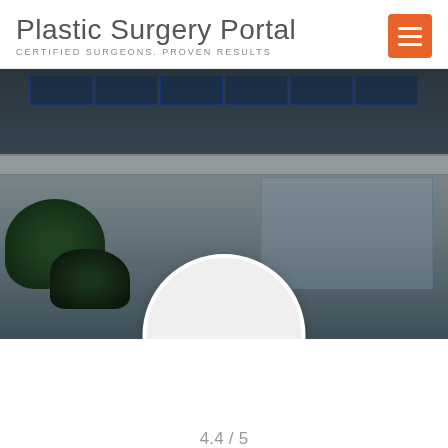Plastic Surgery Portal
CERTIFIED SURGEONS. PROVEN RESULTS
[Figure (photo): Exterior photo of a modern medical building with glass facade, solar panels on roof, and green foliage in foreground. A large white circular profile placeholder is overlaid at the bottom center of the image.]
4.4 / 5
Bosley Hair Restoration - San